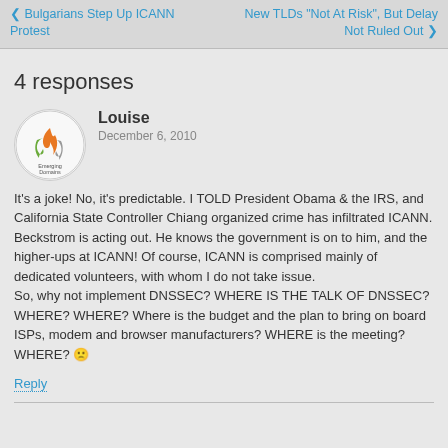< Bulgarians Step Up ICANN Protest | New TLDs "Not At Risk", But Delay Not Ruled Out >
4 responses
[Figure (logo): Emerging Domains logo — circular avatar with stylized flame/arrow shapes in orange, green, and gray, with text 'Emerging Domains' around the bottom]
Louise
December 6, 2010
It's a joke! No, it's predictable. I TOLD President Obama & the IRS, and California State Controller Chiang organized crime has infiltrated ICANN. Beckstrom is acting out. He knows the government is on to him, and the higher-ups at ICANN! Of course, ICANN is comprised mainly of dedicated volunteers, with whom I do not take issue.
So, why not implement DNSSEC? WHERE IS THE TALK OF DNSSEC? WHERE? WHERE? Where is the budget and the plan to bring on board ISPs, modem and browser manufacturers? WHERE is the meeting? WHERE? 🙁
Reply